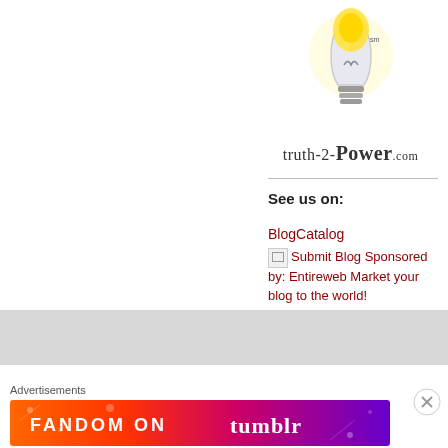[Figure (logo): truth-2-Power.com logo with lightbulb graphic and text]
See us on:
BlogCatalog
[Figure (illustration): Broken image icon for Submit Blog Sponsored by: Entireweb — Market your blog to the world!]
Submit Blog Sponsored by: Entireweb Market your blog to the world!
[Figure (illustration): Broken image icon for BLOG DIRECTORY, Submit blog free, Promote Blog, Best directory]
BLOG DIRECTORY, Submit blog free, Promote Blog, Best directory
Advertisements
[Figure (illustration): Fandom on Tumblr advertisement banner with colorful gradient background]